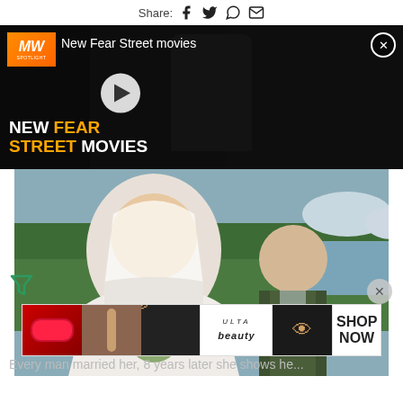Share: [Facebook] [Twitter] [WhatsApp] [Email]
[Figure (screenshot): Video ad banner for 'New Fear Street movies' with MW Spotlight logo, dark hooded figure, play button, and text 'NEW FEAR STREET MOVIES' in white and orange]
[Figure (photo): Wedding photo of a bride in white dress and veil holding bouquet, standing next to a groom in military dress uniform, outdoors near a lake with trees in background]
[Figure (screenshot): Ulta Beauty advertisement strip with makeup imagery including lipstick, brush, eye makeup in multiple panels, Ulta logo, and 'SHOP NOW' button]
Every man married her, 8 years later she shows he...